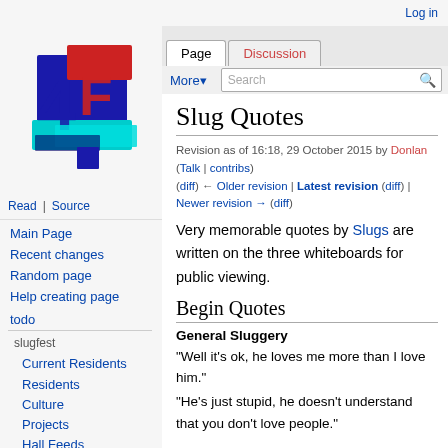Log in
[Figure (logo): 4chan-style wiki logo with large stylized '4F' letters in blue, red, and cyan pixel art style]
Read | Source | More
Page | Discussion | Search
Slug Quotes
Revision as of 16:18, 29 October 2015 by Donlan (Talk | contribs) (diff) ← Older revision | Latest revision (diff) | Newer revision → (diff)
Very memorable quotes by Slugs are written on the three whiteboards for public viewing.
Begin Quotes
General Sluggery
"Well it's ok, he loves me more than I love him."
"He's just stupid, he doesn't understand that you don't love people."
Main Page
Recent changes
Random page
Help creating page
todo
slugfest
Current Residents
Residents
Culture
Projects
Hall Feeds
Places
Back in the day